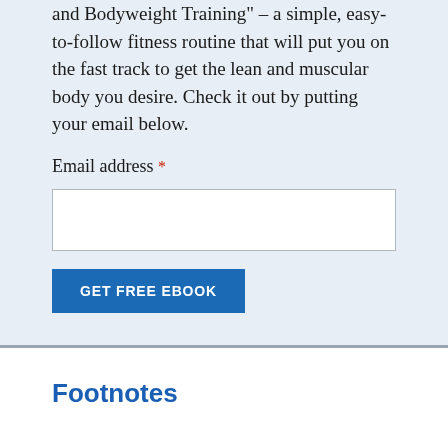and Bodyweight Training" – a simple, easy-to-follow fitness routine that will put you on the fast track to get the lean and muscular body you desire. Check it out by putting your email below.
Email address *
Footnotes